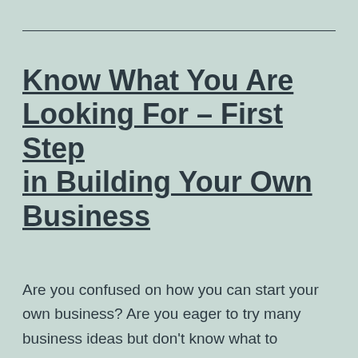Know What You Are Looking For – First Step in Building Your Own Business
Are you confused on how you can start your own business? Are you eager to try many business ideas but don't know what to